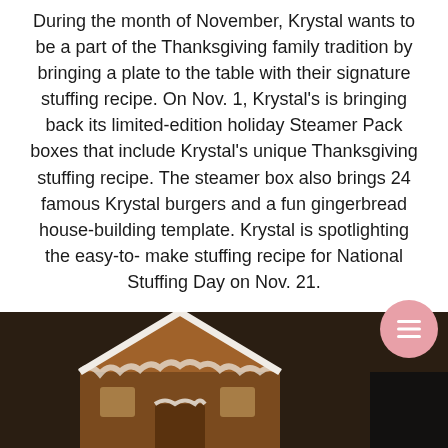During the month of November, Krystal wants to be a part of the Thanksgiving family tradition by bringing a plate to the table with their signature stuffing recipe. On Nov. 1, Krystal's is bringing back its limited-edition holiday Steamer Pack boxes that include Krystal's unique Thanksgiving stuffing recipe. The steamer box also brings 24 famous Krystal burgers and a fun gingerbread house-building template. Krystal is spotlighting the easy-to- make stuffing recipe for National Stuffing Day on Nov. 21.
The recipe isn't for stuffing though. We live in the south and only serve dressing and this is definitely a dressing recipe since nothing is being stuffed. ;)
[Figure (photo): Photo of a gingerbread house with white icing, brown/tan colors, partially visible against a dark background.]